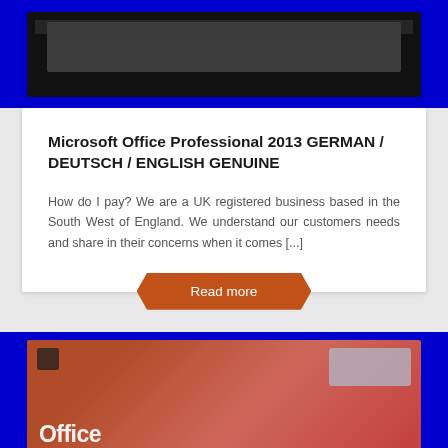[Figure (photo): Product photo with blue background showing a dark device/screen, top portion of card]
Microsoft Office Professional 2013 GERMAN / DEUTSCH / ENGLISH GENUINE
How do I pay? We are a UK registered business based in the South West of England. We understand our customers needs and share in their concerns when it comes [...]
[Figure (photo): Product box photo showing Microsoft Office 2013 retail box with red/orange branding and blue background]